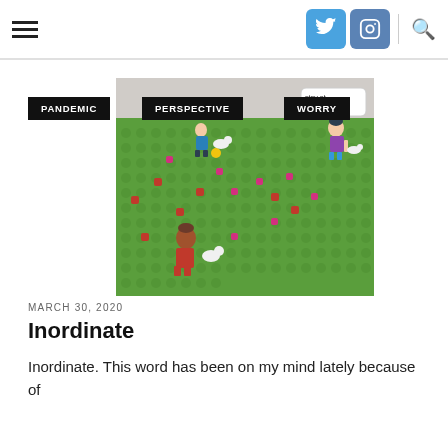Navigation bar with hamburger menu, Twitter icon, Instagram icon, and Search icon
PANDEMIC
PERSPECTIVE
WORRY
[Figure (photo): LEGO/toy scene on a green baseplate with small figures of children and white dogs, red and pink flower pieces scattered around. A speech bubble in upper right reads 'stay at away...']
MARCH 30, 2020
Inordinate
Inordinate. This word has been on my mind lately because of